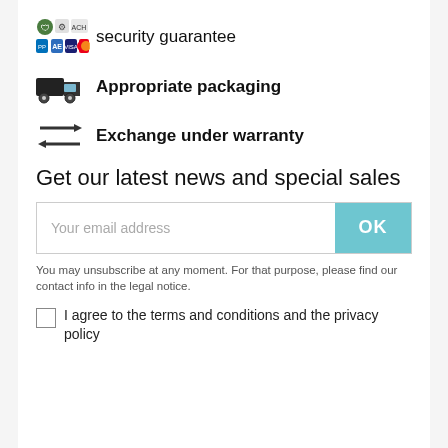security guarantee
Appropriate packaging
Exchange under warranty
Get our latest news and special sales
Your email address
You may unsubscribe at any moment. For that purpose, please find our contact info in the legal notice.
I agree to the terms and conditions and the privacy policy